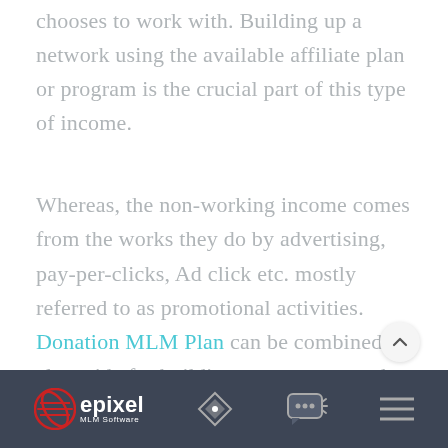chooses to work with. Building up a network using the available affiliate plan or program is the crucial part of this type of income.
Whereas, the non-working income comes from the works they do by advertising, pay-per-clicks, Ad click etc. mostly referred to as promotional activities. Donation MLM Plan can be combined alongside for building a strong network and thereby resulting in a good income.
epixel MLM Software